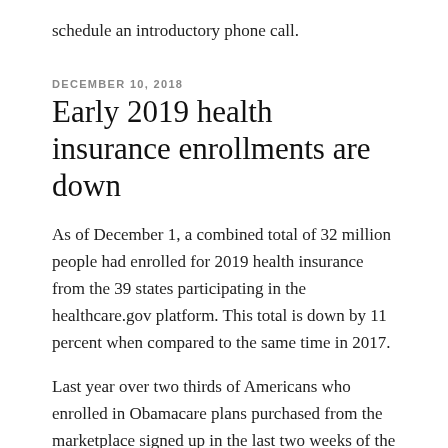schedule an introductory phone call.
DECEMBER 10, 2018
Early 2019 health insurance enrollments are down
As of December 1, a combined total of 32 million people had enrolled for 2019 health insurance from the 39 states participating in the healthcare.gov platform. This total is down by 11 percent when compared to the same time in 2017.
Last year over two thirds of Americans who enrolled in Obamacare plans purchased from the marketplace signed up in the last two weeks of the enrollment season. It appears to be a growing tradition for the vast majority of the sign-ups to occur close to the end of the